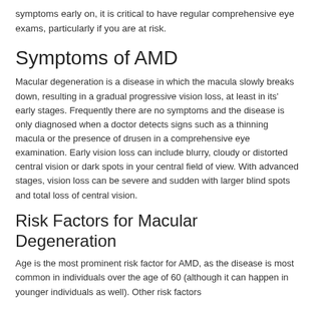symptoms early on, it is critical to have regular comprehensive eye exams, particularly if you are at risk.
Symptoms of AMD
Macular degeneration is a disease in which the macula slowly breaks down, resulting in a gradual progressive vision loss, at least in its' early stages. Frequently there are no symptoms and the disease is only diagnosed when a doctor detects signs such as a thinning macula or the presence of drusen in a comprehensive eye examination. Early vision loss can include blurry, cloudy or distorted central vision or dark spots in your central field of view. With advanced stages, vision loss can be severe and sudden with larger blind spots and total loss of central vision.
Risk Factors for Macular Degeneration
Age is the most prominent risk factor for AMD, as the disease is most common in individuals over the age of 60 (although it can happen in younger individuals as well). Other risk factors